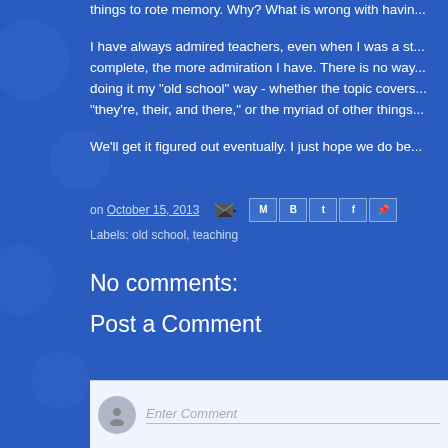things to rote memory. Why? What is wrong with having...
I have always admired teachers, even when I was a student. The more complete, the more admiration I have. There is no way... doing it my "old school" way - whether the topic covers... "they're, their, and there," or the myriad of other things...
We'll get it figured out eventually. I just hope we do bet...
on October 15, 2013
Labels: old school, teaching
No comments:
Post a Comment
Enter Comment